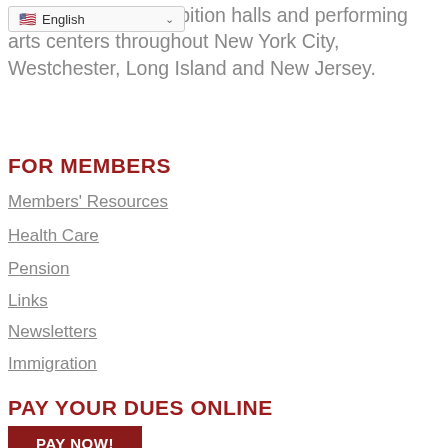xhibition halls and performing arts centers throughout New York City, Westchester, Long Island and New Jersey.
FOR MEMBERS
Members' Resources
Health Care
Pension
Links
Newsletters
Immigration
PAY YOUR DUES ONLINE
PAY NOW!